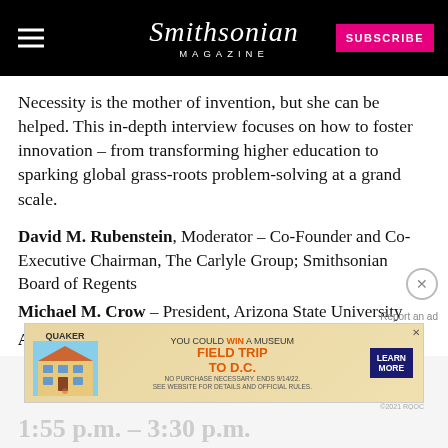Smithsonian MAGAZINE | SUBSCRIBE
Necessity is the mother of invention, but she can be helped. This in-depth interview focuses on how to foster innovation – from transforming higher education to sparking global grass-roots problem-solving at a grand scale.
David M. Rubenstein, Moderator – Co-Founder and Co-Executive Chairman, The Carlyle Group; Smithsonian Board of Regents
Michael M. Crow – President, Arizona State University
Alex Dehgan – CEO & Co-Founder, Conservation X Labs
[Figure (screenshot): Advertisement banner: Quaker Museum Day promotion – You could win a museum field trip to D.C. Learn More button. ©2021 RQOC]